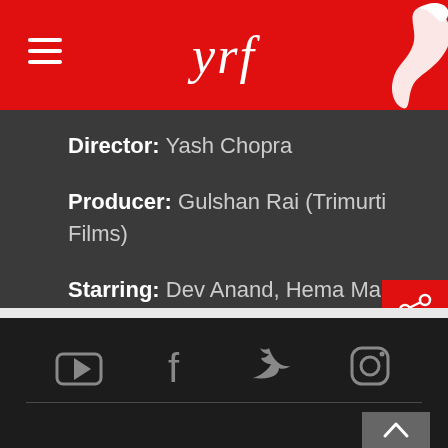yrf
Director: Yash Chopra
Producer: Gulshan Rai (Trimurti Films)
Starring: Dev Anand, Hema Malini, Rakhee, Pran, Bindu, Madan Puri, I.S. Johar
Music: R.D. Burman
Social icons: YouTube, Facebook, Twitter, Instagram